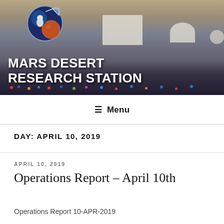[Figure (photo): Mars Desert Research Station header banner showing aerial/wide view of the station in a desert landscape with a large group of people gathered. Logo with astronaut and Mars imagery in upper left. White banner title text reads MARS DESERT RESEARCH STATION.]
≡ Menu
DAY: APRIL 10, 2019
APRIL 10, 2019
Operations Report – April 10th
Operations Report 10-APR-2019